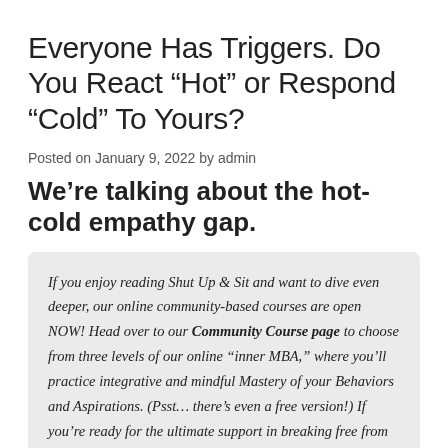Everyone Has Triggers. Do You React “Hot” or Respond “Cold” To Yours?
Posted on January 9, 2022 by admin
We’re talking about the hot-cold empathy gap.
If you enjoy reading Shut Up & Sit and want to dive even deeper, our online community-based courses are open NOW! Head over to our Community Course page to choose from three levels of our online “inner MBA,” where you’ll practice integrative and mindful Mastery of your Behaviors and Aspirations. (Psst… there’s even a free version!) If you’re ready for the ultimate support in breaking free from